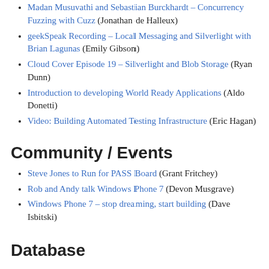Madan Musuvathi and Sebastian Burckhardt – Concurrency Fuzzing with Cuzz (Jonathan de Halleux)
geekSpeak Recording – Local Messaging and Silverlight with Brian Lagunas (Emily Gibson)
Cloud Cover Episode 19 – Silverlight and Blob Storage (Ryan Dunn)
Introduction to developing World Ready Applications (Aldo Donetti)
Video: Building Automated Testing Infrastructure (Eric Hagan)
Community / Events
Steve Jones to Run for PASS Board (Grant Fritchey)
Rob and Andy talk Windows Phone 7 (Devon Musgrave)
Windows Phone 7 – stop dreaming, start building (Dave Isbitski)
Database